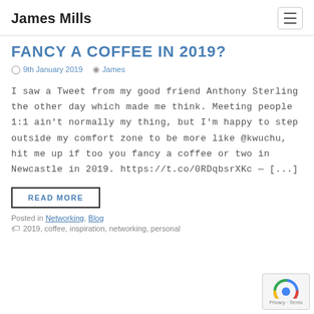James Mills
FANCY A COFFEE IN 2019?
9th January 2019   James
I saw a Tweet from my good friend Anthony Sterling the other day which made me think. Meeting people 1:1 ain't normally my thing, but I'm happy to step outside my comfort zone to be more like @kwuchu, hit me up if too you fancy a coffee or two in Newcastle in 2019. https://t.co/0RDqbsrXKc — [...]
READ MORE
Posted in Networking, Blog
2019, coffee, inspiration, networking, personal